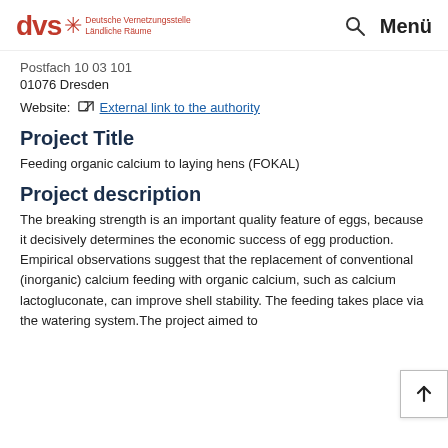dvs * Deutsche Vernetzungsstelle Ländliche Räume  🔍  Menü
Postfach 10 03 101
01076 Dresden
Website: External link to the authority
Project Title
Feeding organic calcium to laying hens (FOKAL)
Project description
The breaking strength is an important quality feature of eggs, because it decisively determines the economic success of egg production. Empirical observations suggest that the replacement of conventional (inorganic) calcium feeding with organic calcium, such as calcium lactogluconate, can improve shell stability. The feeding takes place via the watering system.The project aimed to